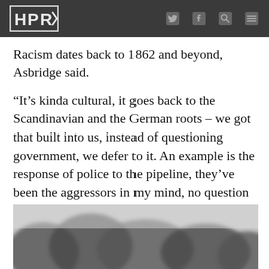HPR
Racism dates back to 1862 and beyond, Asbridge said.
“It’s kinda cultural, it goes back to the Scandinavian and the German roots – we got that built into us, instead of questioning government, we defer to it. An example is the response of police to the pipeline, they’ve been the aggressors in my mind, no question about it. I think they were sent there to antagonize the Natives.”
[Figure (photo): Black and white historical photograph, partially visible at bottom of page]